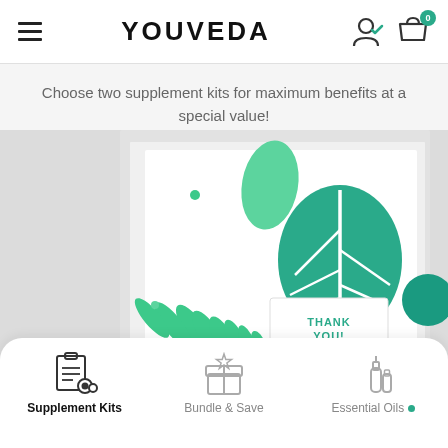YOUVEDA
Choose two supplement kits for maximum benefits at a special value!
[Figure (photo): Open white box with green and teal tropical leaf pattern tissue paper inside, and a 'THANK YOU!' card visible]
[Figure (infographic): Bottom navigation bar with three icons: Supplement Kits (active, bold), Bundle & Save, Essential Oils with a teal dot indicator]